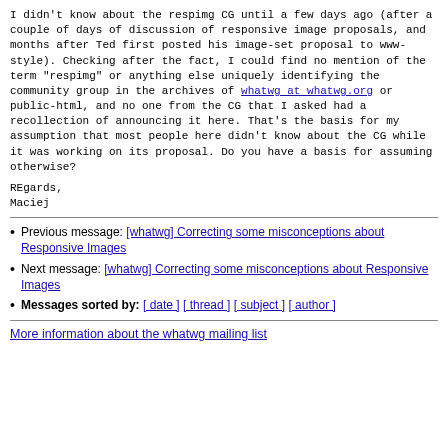I didn't know about the respimg CG until a few days ago (after a couple of days of discussion of responsive image proposals, and months after Ted first posted his image-set proposal to www-style). Checking after the fact, I could find no mention of the term "respimg" or anything else uniquely identifying the community group in the archives of whatwg at whatwg.org or public-html, and no one from the CG that I asked had a recollection of announcing it here. That's the basis for my assumption that most people here didn't know about the CG while it was working on its proposal. Do you have a basis for assuming otherwise?
REgards,
Maciej
Previous message: [whatwg] Correcting some misconceptions about Responsive Images
Next message: [whatwg] Correcting some misconceptions about Responsive Images
Messages sorted by: [ date ] [ thread ] [ subject ] [ author ]
More information about the whatwg mailing list